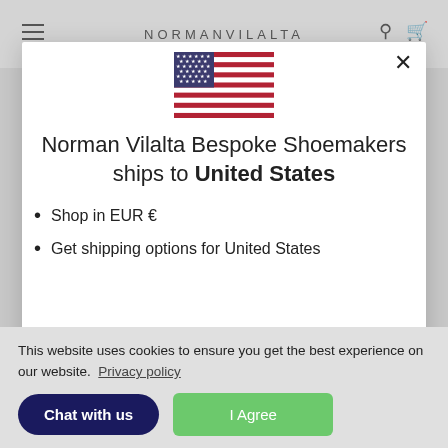NORMANVILALTA
[Figure (screenshot): Modal dialog with US flag, shipping notice for Norman Vilalta Bespoke Shoemakers to United States]
Norman Vilalta Bespoke Shoemakers ships to United States
Shop in EUR €
Get shipping options for United States
This website uses cookies to ensure you get the best experience on our website. Privacy policy
I Agree
Chat with us